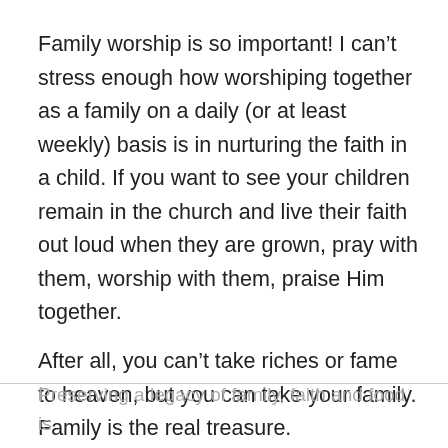Family worship is so important! I can't stress enough how worshiping together as a family on a daily (or at least weekly) basis is in nurturing the faith in a child. If you want to see your children remain in the church and live their faith out loud when they are grown, pray with them, worship with them, praise Him together.
After all, you can't take riches or fame to heaven, but you can take your family. Family is the real treasure.
Preserving a legacy of family, faith and food is